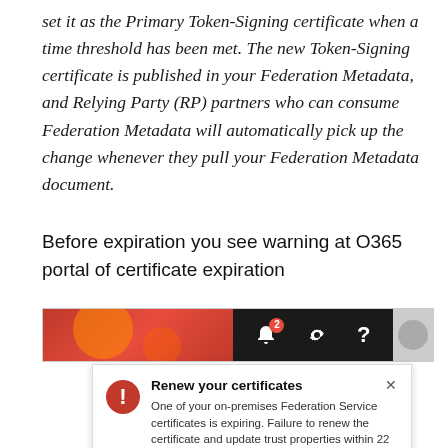set it as the Primary Token-Signing certificate when a time threshold has been met. The new Token-Signing certificate is published in your Federation Metadata, and Relying Party (RP) partners who can consume Federation Metadata will automatically pick up the change whenever they pull your Federation Metadata document.
Before expiration you see warning at O365 portal of certificate expiration
[Figure (screenshot): O365 portal notification showing 'Renew your certificates' warning popup. The navbar shows a red banner with decorative circles, dark section with bell icon (badge 2), gear icon, and question mark icon. Below is a white popup with a red warning triangle icon, title 'Renew your certificates', close X, and body text: 'One of your on-premises Federation Service certificates is expiring. Failure to renew the certificate and update trust properties within 22 days will result in a loss of access to all Office 365 services for all users.']